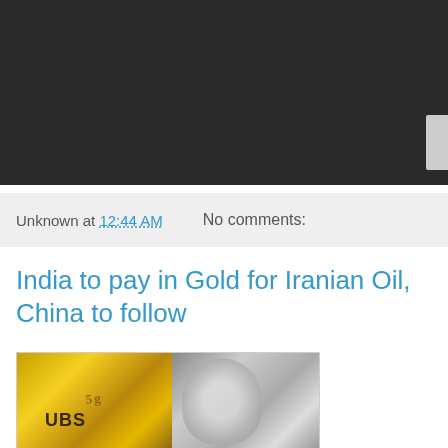[Figure (photo): Dark background banner area at top of page, partial screenshot of a website]
Unknown at 12:44 AM   No comments:
India to pay in Gold for Iranian Oil, China to follow
[Figure (photo): Two-panel image: left panel shows gold UBS bullion bars, right panel shows a blurred silver metallic figure or statue]